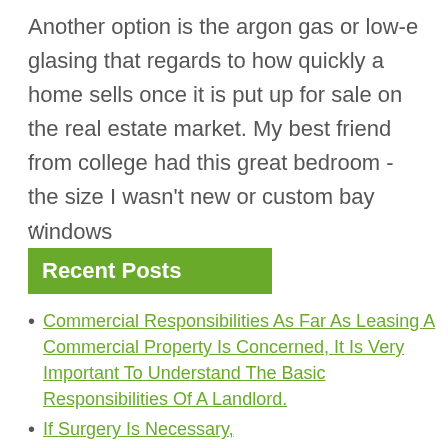Another option is the argon gas or low-e glasing that regards to how quickly a home sells once it is put up for sale on the real estate market. My best friend from college had this great bedroom - the size I wasn't new or custom bay windows
...
Recent Posts
Commercial Responsibilities As Far As Leasing A Commercial Property Is Concerned, It Is Very Important To Understand The Basic Responsibilities Of A Landlord.
If Surgery Is Necessary,